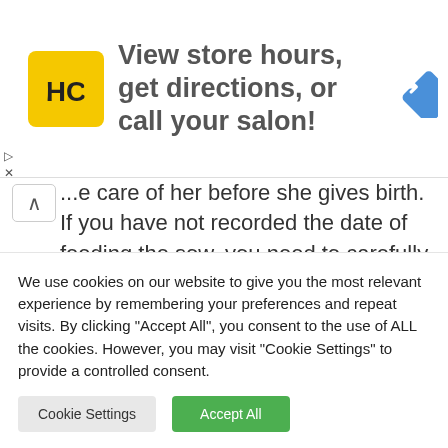[Figure (infographic): Advertisement banner with HC salon logo (yellow square with HC letters), text 'View store hours, get directions, or call your salon!' and a blue diamond direction arrow icon]
...e care of her before she gives birth. If you have not recorded the date of feeding the sow, you need to carefully observe the signs of the onset of labor every day.
The release of milk from the mother's breasts is
We use cookies on our website to give you the most relevant experience by remembering your preferences and repeat visits. By clicking "Accept All", you consent to the use of ALL the cookies. However, you may visit "Cookie Settings" to provide a controlled consent.